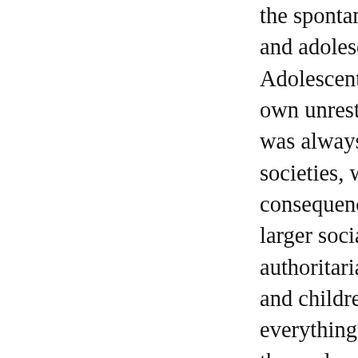the spontaneous ma and adolescents, whe Adolescent love, as own unrestrained na was always obliterat societies, where viol consequences. By R larger social and stat authoritarianism wit and children could n everything was ruled themselves were trap obedience. In such c and sexuality was re outright. Abandoned one major consequer number of men who of the period, the sit of food supplies, a m refugees from all ov extremism. An ineff government structur